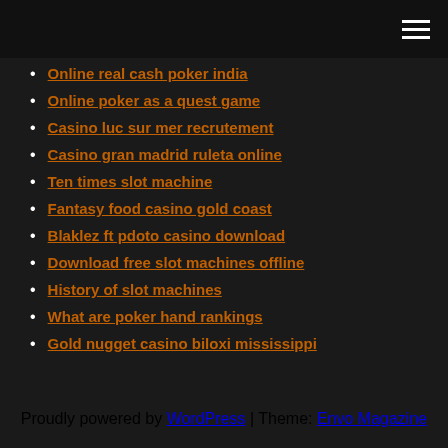Online real cash poker india
Online poker as a quest game
Casino luc sur mer recrutement
Casino gran madrid ruleta online
Ten times slot machine
Fantasy food casino gold coast
Blaklez ft pdoto casino download
Download free slot machines offline
History of slot machines
What are poker hand rankings
Gold nugget casino biloxi mississippi
Proudly powered by WordPress | Theme: Envo Magazine